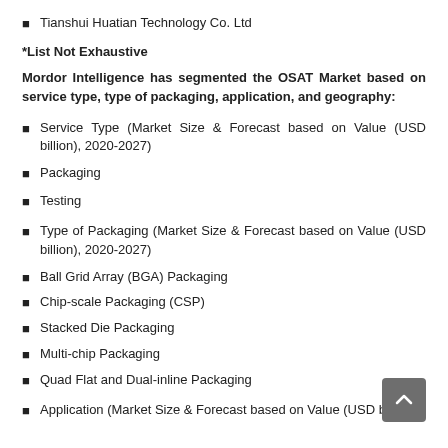Tianshui Huatian Technology Co. Ltd
*List Not Exhaustive
Mordor Intelligence has segmented the OSAT Market based on service type, type of packaging, application, and geography:
Service Type (Market Size & Forecast based on Value (USD billion), 2020-2027)
Packaging
Testing
Type of Packaging (Market Size & Forecast based on Value (USD billion), 2020-2027)
Ball Grid Array (BGA) Packaging
Chip-scale Packaging (CSP)
Stacked Die Packaging
Multi-chip Packaging
Quad Flat and Dual-inline Packaging
Application (Market Size & Forecast based on Value (USD billion),